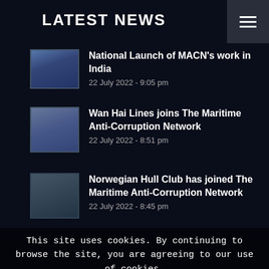LATEST NEWS
National Launch of MACN's work in India
22 July 2022 - 9:05 pm
Wan Hai Lines joins The Maritime Anti-Corruption Network
22 July 2022 - 8:51 pm
Norwegian Hull Club has joined The Maritime Anti-Corruption Network
22 July 2022 - 8:45 pm
This site uses cookies. By continuing to browse the site, you are agreeing to our use of cookies.
ACCEPT SETTINGS
HIDE NOTIFICATION ONLY
SETTINGS
ABOUT MACN
MA... to promoting compliance... corruption laws and committed to the elimination of corrupt practices.